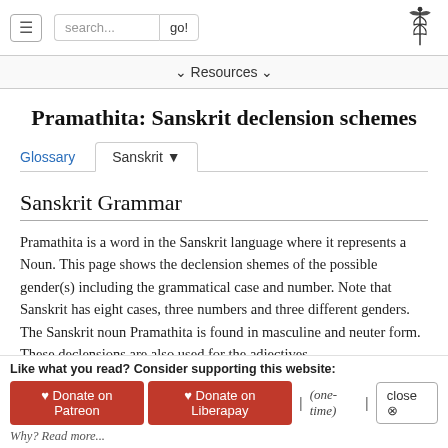≡  search...  go!  [caduceus logo]
∨ Resources ∨
Pramathita: Sanskrit declension schemes
Glossary  Sanskrit ▾
Sanskrit Grammar
Pramathita is a word in the Sanskrit language where it represents a Noun. This page shows the declension shemes of the possible gender(s) including the grammatical case and number. Note that Sanskrit has eight cases, three numbers and three different genders. The Sanskrit noun Pramathita is found in masculine and neuter form. These declensions are also used for the adjectives.
Display font script: Latin-unicode, Devanagari, Bengali
Like what you read? Consider supporting this website: ♥ Donate on Patreon  ♥ Donate on Liberapay  | (one-time) |  close ⊗  Why? Read more...